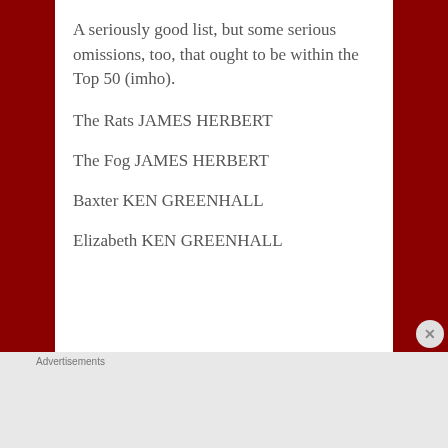A seriously good list, but some serious omissions, too, that ought to be within the Top 50 (imho).
The Rats JAMES HERBERT
The Fog JAMES HERBERT
Baxter KEN GREENHALL
Elizabeth KEN GREENHALL
[Figure (screenshot): DuckDuckGo advertisement banner: 'Search, browse, and email with more privacy. All in One Free App' with DuckDuckGo logo on a phone]